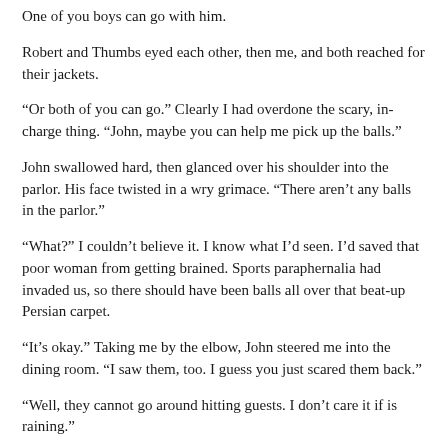One of you boys can go with him.
Robert and Thumbs eyed each other, then me, and both reached for their jackets.
“Or both of you can go.” Clearly I had overdone the scary, in-charge thing. “John, maybe you can help me pick up the balls.”
John swallowed hard, then glanced over his shoulder into the parlor. His face twisted in a wry grimace. “There aren’t any balls in the parlor.”
“What?” I couldn’t believe it. I know what I’d seen. I’d saved that poor woman from getting brained. Sports paraphernalia had invaded us, so there should have been balls all over that beat-up Persian carpet.
“It’s okay.” Taking me by the elbow, John steered me into the dining room. “I saw them, too. I guess you just scared them back.”
“Well, they cannot go around hitting guests. I don’t care it if is raining.”